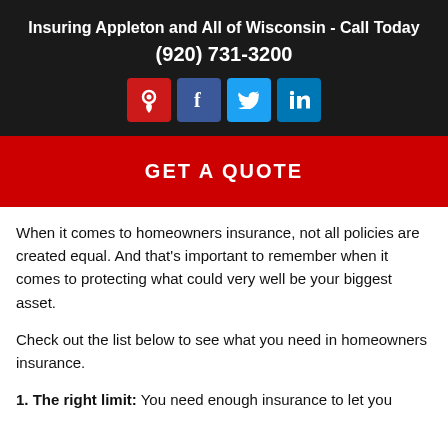Insuring Appleton and All of Wisconsin - Call Today
(920) 731-3200
[Figure (infographic): Social media icon buttons: location (red), Facebook (dark blue), Twitter (light blue), LinkedIn (blue)]
[Figure (infographic): Red call-to-action button with text GET A QUOTE]
When it comes to homeowners insurance, not all policies are created equal. And that’s important to remember when it comes to protecting what could very well be your biggest asset.
Check out the list below to see what you need in homeowners insurance.
1. The right limit: You need enough insurance to let you